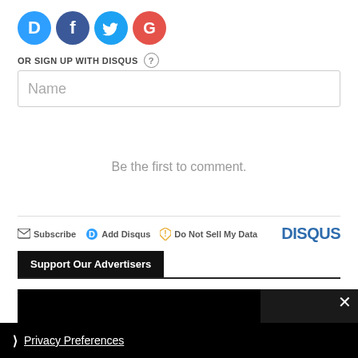[Figure (logo): Four social login icons: Disqus (blue D), Facebook (dark blue F), Twitter (cyan bird), Google (red G)]
OR SIGN UP WITH DISQUS ?
Name
Be the first to comment.
Subscribe  Add Disqus  Do Not Sell My Data  DISQUS
Support Our Advertisers
[Figure (screenshot): Dark advertisement block]
Privacy Preferences